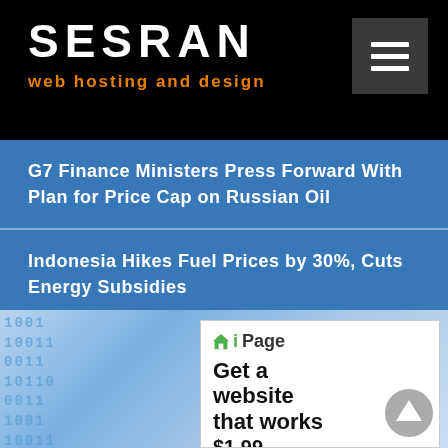SESRAN
web hosting and design
G7 Finance Ministers Press Forward With Plan for Price Cap on Russian Oil
Indonesia Hikes Fuel Prices by 30%, Cuts Energy Subsidies
[Figure (screenshot): iPage advertisement showing logo, headline 'Get a website that works', and price '$1.99 per']